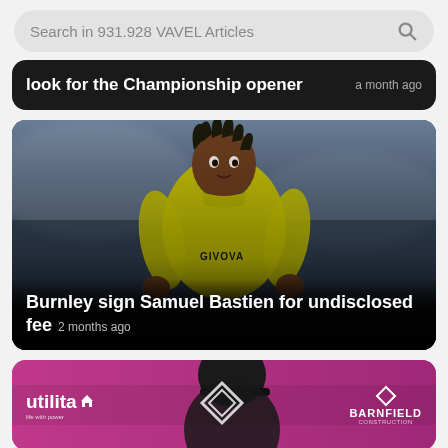Search in 931.928 VAVEL Articles
look for the Championship opener  a month ago
[Figure (photo): Football player in yellow Givova jersey — Samuel Bastien]
Burnley sign Samuel Bastien for undisclosed fee  2 months ago
[Figure (photo): Partial view of person in dark cap against pink/magenta sponsor backdrop with Utilita, Umbro, and Barnfield logos]